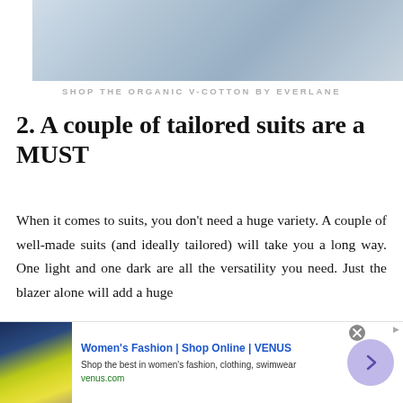[Figure (photo): Close-up photo of a person wearing a light blue denim outfit, cropped to show torso area]
SHOP THE ORGANIC V-COTTON BY EVERLANE
2. A couple of tailored suits are a MUST
When it comes to suits, you don't need a huge variety. A couple of well-made suits (and ideally tailored) will take you a long way. One light and one dark are all the versatility you need. Just the blazer alone will add a huge
[Figure (screenshot): Advertisement banner for Women's Fashion | Shop Online | VENUS. Shows 'Shop the best in women's fashion, clothing, swimwear' and venus.com URL, with a purple arrow button and Summer Sale promotional image.]